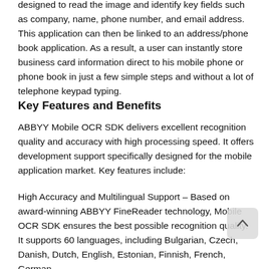designed to read the image and identify key fields such as company, name, phone number, and email address. This application can then be linked to an address/phone book application. As a result, a user can instantly store business card information direct to his mobile phone or phone book in just a few simple steps and without a lot of telephone keypad typing.
Key Features and Benefits
ABBYY Mobile OCR SDK delivers excellent recognition quality and accuracy with high processing speed. It offers development support specifically designed for the mobile application market. Key features include:
High Accuracy and Multilingual Support – Based on award-winning ABBYY FineReader technology, Mobile OCR SDK ensures the best possible recognition quality. It supports 60 languages, including Bulgarian, Czech, Danish, Dutch, English, Estonian, Finnish, French, German,